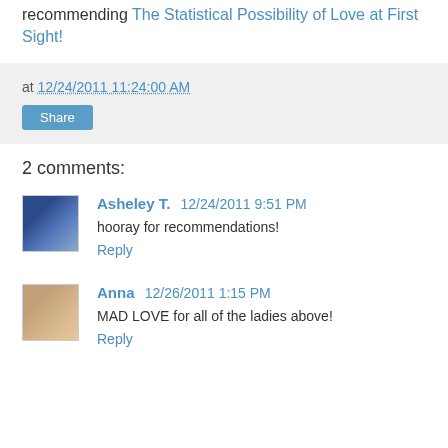recommending The Statistical Possibility of Love at First Sight!
at 12/24/2011 11:24:00 AM
Share
2 comments:
Asheley T. 12/24/2011 9:51 PM
hooray for recommendations!
Reply
Anna 12/26/2011 1:15 PM
MAD LOVE for all of the ladies above!
Reply